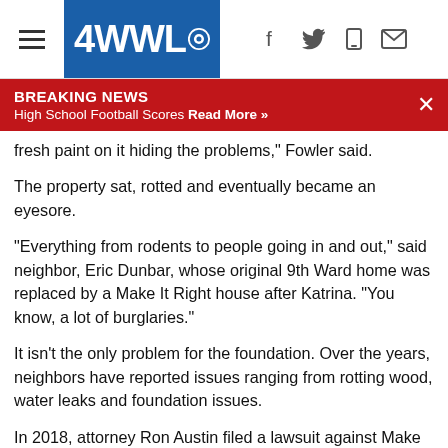4WWL Breaking News Header
BREAKING NEWS
High School Football Scores Read More »
fresh paint on it hiding the problems," Fowler said.
The property sat, rotted and eventually became an eyesore.
"Everything from rodents to people going in and out," said neighbor, Eric Dunbar, whose original 9th Ward home was replaced by a Make It Right house after Katrina. “You know, a lot of burglaries."
It isn't the only problem for the foundation. Over the years, neighbors have reported issues ranging from rotting wood, water leaks and foundation issues.
In 2018, attorney Ron Austin filed a lawsuit against Make It Right. Austin says the foundation's legal team has been defending, denying and delaying for months.